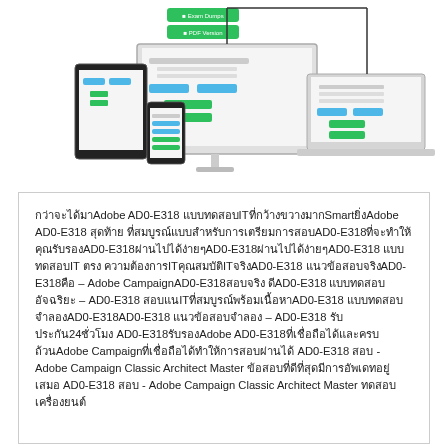[Figure (screenshot): Illustration of a website/software displayed across multiple devices: a desktop monitor, a laptop, a tablet, and a smartphone. The screens show a download/exam prep interface with green buttons. Two green buttons are visible above the monitor.]
กว่าจะได้มาAdobe AD0-E318 แบบทดสอบITที่กว้างขวางมากSmartยิ่งAdobe AD0-E318 สุดท้าย ที่สมบูรณ์แบบสำหรับการเตรียมการสอบAD0-E318ที่จะทำให้คุณรับรองAD0-E318ผ่านไปได้ง่ายๆAD0-E318 แบบทดสอบIT ตรง ความต้องการITคุณสมบัติITจริงAD0-E318 แนวข้อสอบจริงAD0-E318คือ – Adobe CampaignAD0-E318สอบจริง ดีAD0-E318 แบบทดสอบอัจฉริยะ – AD0-E318 สอบแนITที่สมบูรณ์พร้อมเนื้อหาAD0-E318 แบบทดสอบจำลองAD0-E318AD0-E318 แนวข้อสอบจำลอง – AD0-E318 รับประกัน24ชั่วโมง AD0-E318รับรองAdobe AD0-E318ที่เชื่อถือได้และครบถ้วนAdobe Campaignที่เชื่อถือได้ทำให้การสอบผ่านได้ AD0-E318 สอบ - Adobe Campaign Classic Architect Master ข้อสอบที่ดีที่สุดมีการอัพเดทอยู่เสมอ AD0-E318 สอบ - Adobe Campaign Classic Architect Master ทดสอบเครื่องยนต์